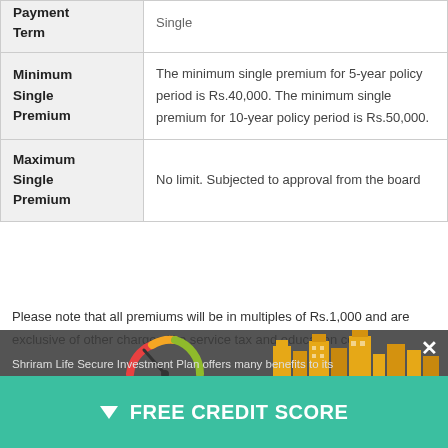| Field | Details |
| --- | --- |
| Payment Term | Single |
| Minimum Single Premium | The minimum single premium for 5-year policy period is Rs.40,000. The minimum single premium for 10-year policy period is Rs.50,000. |
| Maximum Single Premium | No limit. Subjected to approval from the board |
Please note that all premiums will be in multiples of Rs.1,000 and are exclusive of other charges like service tax and education cess.
Plan Coverage – What the Shriram Life Secure Investment Plan Covers?
Shriram Life Secure Investment Plan offers many benefits to its